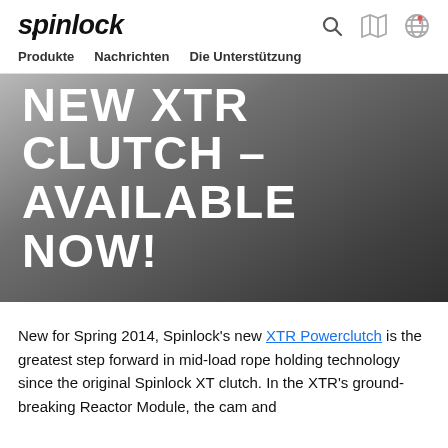spinlock — Produkte  Nachrichten  Die Unterstützung
[Figure (screenshot): Hero banner with dark grey gradient background and large white uppercase text: NEW XTR CLUTCH – AVAILABLE NOW!]
New for Spring 2014, Spinlock's new XTR Powerclutch is the greatest step forward in mid-load rope holding technology since the original Spinlock XT clutch. In the XTR's ground-breaking Reactor Module, the cam and